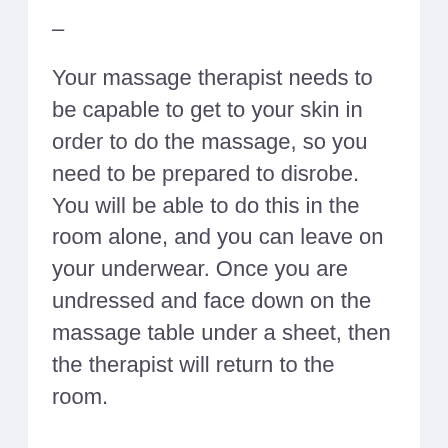–
Your massage therapist needs to be capable to get to your skin in order to do the massage, so you need to be prepared to disrobe. You will be able to do this in the room alone, and you can leave on your underwear. Once you are undressed and face down on the massage table under a sheet, then the therapist will return to the room.
Finding a great massage parlor can be difficult with all of the slummy, low-quality parlors available in most large towns. These tips provide a good set of guidelines for